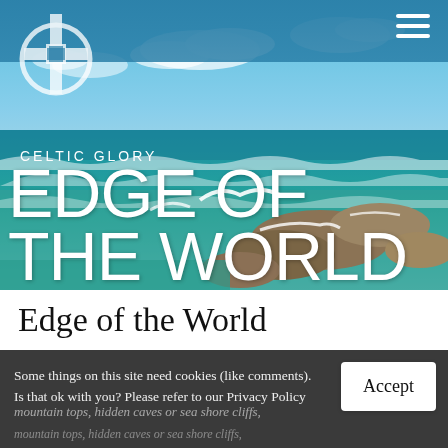[Figure (illustration): Coastal seascape with turquoise ocean waves crashing on rocky shore under blue sky with clouds. Overlaid with 'CELTIC GLORY' subtitle and large 'EDGE OF THE WORLD' title text in white. Header bar in teal/blue with Celtic cross logo top-left and hamburger menu icon top-right.]
Edge of the World
Some things on this site need cookies (like comments). Is that ok with you? Please refer to our Privacy Policy
Accept
mountain tops, hidden caves or sea shore cliffs,